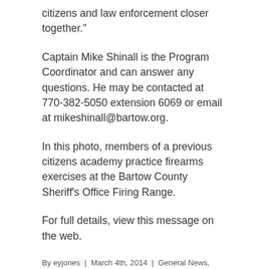citizens and law enforcement closer together."
Captain Mike Shinall is the Program Coordinator and can answer any questions. He may be contacted at 770-382-5050 extension 6069 or email at mikeshinall@bartow.org.
In this photo, members of a previous citizens academy practice firearms exercises at the Bartow County Sheriff’s Office Firing Range.
For full details, view this message on the web.
By eyjones  |  March 4th, 2014  |  General News, Headlines  |  Comments Off